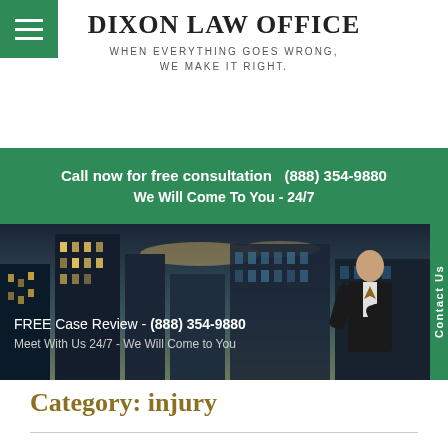DIXON LAW OFFICE
WHEN EVERYTHING GOES WRONG, WE MAKE IT RIGHT.
Call now for free consultation   (888) 354-9880
We Will Come To You - 24/7
[Figure (photo): Hero image of city skyline with a man in a suit standing with arms crossed, and a vertical 'Contact Us' green tab on the right]
FREE Case Review - (888) 354-9880
Meet With Us 24/7 - We Will Come to You
Category: injury
Should Christians Sue When Wronged?